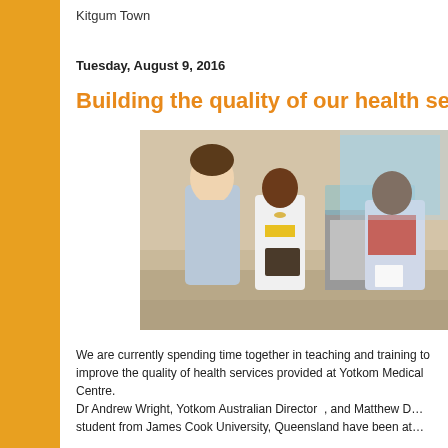Kitgum Town
Tuesday, August 9, 2016
Building the quality of our health servi…
[Figure (photo): Two men standing and conversing in what appears to be a hospital ward, with a patient in a crib and another person in the background. The setting is Yotkom Medical Centre.]
We are currently spending time together in teaching and training to improve the quality of health services provided at Yotkom Medical Centre. Dr Andrew Wright, Yotkom Australian Director , and Matthew D… student from James Cook University, Queensland have been at…